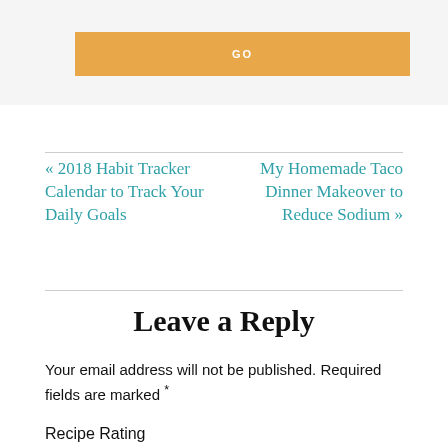[Figure (other): Orange GO button on light grey background]
« 2018 Habit Tracker Calendar to Track Your Daily Goals
My Homemade Taco Dinner Makeover to Reduce Sodium »
Leave a Reply
Your email address will not be published. Required fields are marked *
Recipe Rating